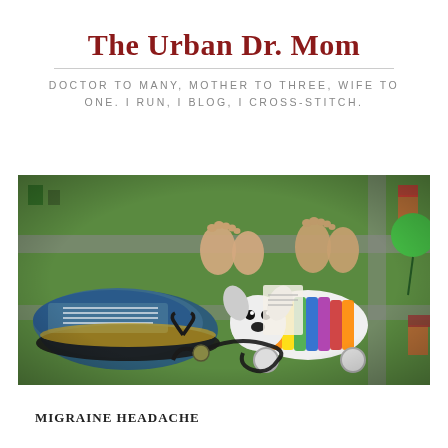The Urban Dr. Mom
DOCTOR TO MANY, MOTHER TO THREE, WIFE TO ONE. I RUN, I BLOG, I CROSS-STITCH.
[Figure (photo): Children's feet and a running shoe on a colorful play mat, with a stuffed dog toy and a stethoscope visible in the foreground]
MIGRAINE HEADACHE